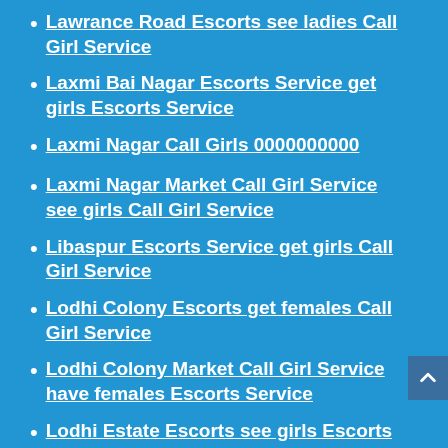Lawrance Road Escorts see ladies Call Girl Service
Laxmi Bai Nagar Escorts Service get girls Escorts Service
Laxmi Nagar Call Girls 0000000000
Laxmi Nagar Market Call Girl Service see girls Call Girl Service
Libaspur Escorts Service get girls Call Girl Service
Lodhi Colony Escorts get females Call Girl Service
Lodhi Colony Market Call Girl Service have females Escorts Service
Lodhi Estate Escorts see girls Escorts Service
Lodhi Road Call Girl Service see ladies Escorts Service
Lohia Nagar Escorts see girls Escorts Service
Lohiya Nagar Call Girl Service have ladies Escorts Service
Loni Bhopura Road Call Girl Service
Loni Road Housing Complex Escorts get girls Call Girl Service